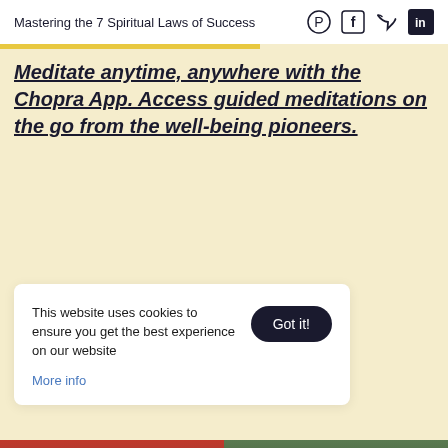Mastering the 7 Spiritual Laws of Success
Meditate anytime, anywhere with the Chopra App. Access guided meditations on the go from the well-being pioneers.
This website uses cookies to ensure you get the best experience on our website
More info